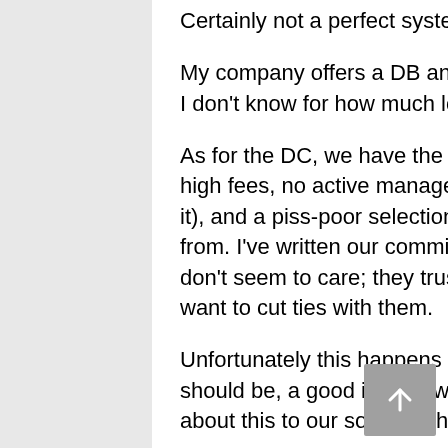Certainly not a perfect system, is it Paul?
My company offers a DB and DC plan, the DB plan, I don't know for how much longer…
As for the DC, we have the same issue for my wife: high fees, no active management (but you pay for it), and a piss-poor selection of funds to choose from. I've written our committee about it but they don't seem to care; they trust the provider and don't want to cut ties with them.
Unfortunately this happens more common that should be, a good idea to write another article about this to our society. Thenk...